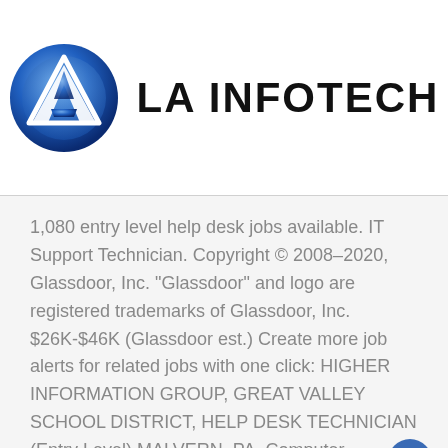[Figure (logo): LA INFOTECH company logo: circular blue gradient emblem with a stylized white letter A / triangle shape inside, followed by bold text 'LA INFOTECH']
1,080 entry level help desk jobs available. IT Support Technician. Copyright © 2008–2020, Glassdoor, Inc. "Glassdoor" and logo are registered trademarks of Glassdoor, Inc. $26K-$46K (Glassdoor est.) Create more job alerts for related jobs with one click: HIGHER INFORMATION GROUP, GREAT VALLEY SCHOOL DISTRICT, HELP DESK TECHNICIAN (Entry Level) MALVERN, PA, Computer Technical Support Representative,